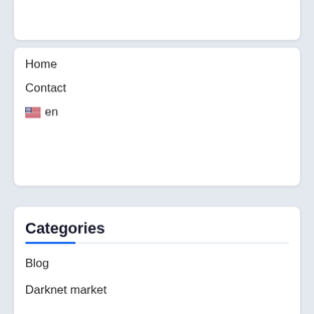Home
Contact
🇺🇸 en
Categories
Blog
Darknet market